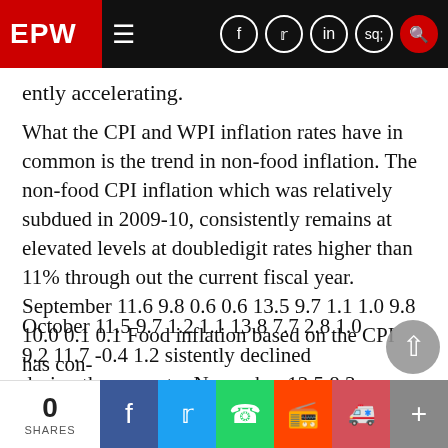EPW
ently accelerating.
What the CPI and WPI inflation rates have in common is the trend in non-food inflation. The non-food CPI inflation which was relatively subdued in 2009-10, consistently remains at elevated levels at doubledigit rates higher than 11% through out the current fiscal year. September 11.6 9.8 0.6 0.6 13.5 9.7 1.1 1.0 9.8 10.0 0.1 0.1 Food inflation based on the CPI has con-
October 11.5 9.7 1.2 1.1 13.8 7.7 2.8 1.0 9.2 11.7 -0.4 1.2 sistently declined during the current y November 13.5 8.3 1.8 0.6 17.6 5.3 3.3 1.0 9.5